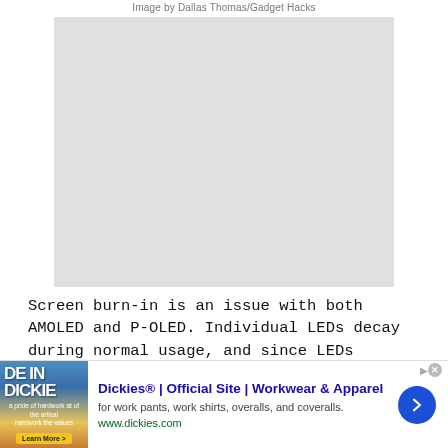Image by Dallas Thomas/Gadget Hacks
[Figure (photo): Placeholder image area, light gray rectangle]
Screen burn-in is an issue with both AMOLED and P-OLED. Individual LEDs decay during normal usage, and since LEDs operate independently, they decay at different rates. However, you can take measures to fix already burnt-in screens and reduce their
[Figure (other): Advertisement banner for Dickies workwear. Title: Dickies® | Official Site | Workwear & Apparel. Description: for work pants, work shirts, overalls, and coveralls. URL: www.dickies.com]